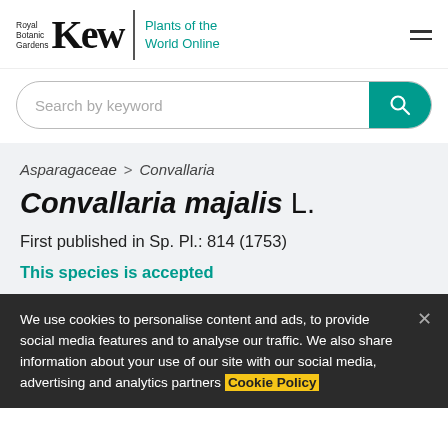Royal Botanic Gardens Kew | Plants of the World Online
[Figure (screenshot): Search bar with 'Search by keyword' placeholder and teal search button]
Asparagaceae > Convallaria
Convallaria majalis L.
First published in Sp. Pl.: 814 (1753)
This species is accepted
We use cookies to personalise content and ads, to provide social media features and to analyse our traffic. We also share information about your use of our site with our social media, advertising and analytics partners Cookie Policy